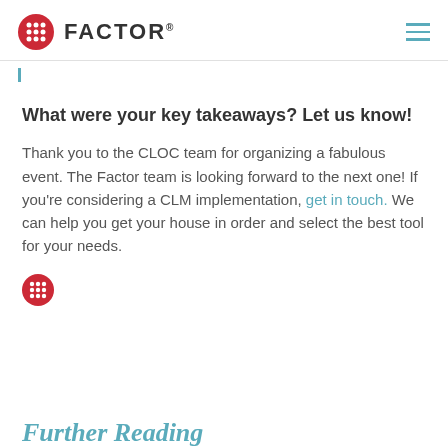FACTOR
What were your key takeaways? Let us know!
Thank you to the CLOC team for organizing a fabulous event.  The Factor team is looking forward to the next one!  If you’re considering a CLM implementation, get in touch. We can help you get your house in order and select the best tool for your needs.
Further Reading